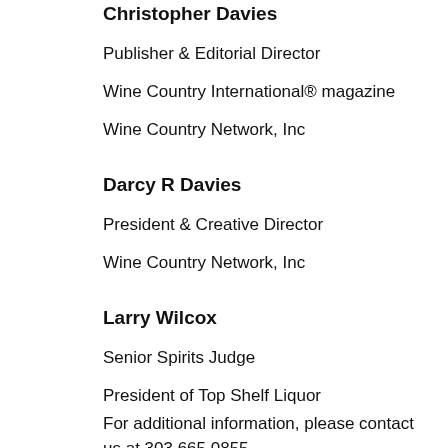Christopher Davies
Publisher & Editorial Director
Wine Country International® magazine
Wine Country Network, Inc
Darcy R Davies
President & Creative Director
Wine Country Network, Inc
Larry Wilcox
Senior Spirits Judge
President of Top Shelf Liquor
For additional information, please contact us at 303.665.0855.